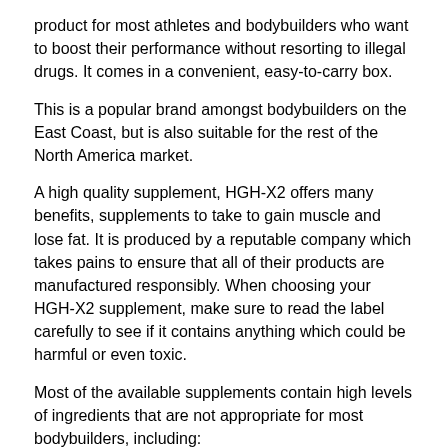product for most athletes and bodybuilders who want to boost their performance without resorting to illegal drugs. It comes in a convenient, easy-to-carry box.
This is a popular brand amongst bodybuilders on the East Coast, but is also suitable for the rest of the North America market.
A high quality supplement, HGH-X2 offers many benefits, supplements to take to gain muscle and lose fat. It is produced by a reputable company which takes pains to ensure that all of their products are manufactured responsibly. When choosing your HGH-X2 supplement, make sure to read the label carefully to see if it contains anything which could be harmful or even toxic.
Most of the available supplements contain high levels of ingredients that are not appropriate for most bodybuilders, including:
Anabolic Steroids
Cyproheptadine
Diuretics
DEXA